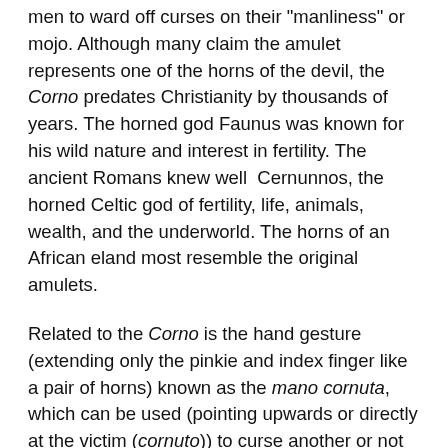men to ward off curses on their "manliness" or mojo. Although many claim the amulet represents one of the horns of the devil, the Corno predates Christianity by thousands of years. The horned god Faunus was known for his wild nature and interest in fertility. The ancient Romans knew well Cernunnos, the horned Celtic god of fertility, life, animals, wealth, and the underworld. The horns of an African eland most resemble the original amulets.
Related to the Corno is the hand gesture (extending only the pinkie and index finger like a pair of horns) known as the mano cornuta, which can be used (pointing upwards or directly at the victim (cornuto)) to curse another or not so subtly send the message that a man's wife or girlfriend is straying. This gesture can also be used to ward off the Evil Eye (pointing fingers down).